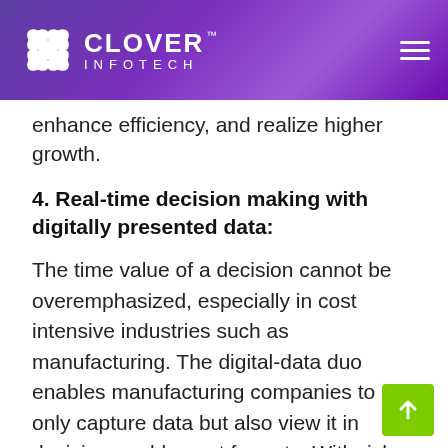CLOVER™ INFOTECH
enhance efficiency, and realize higher growth.
4. Real-time decision making with digitally presented data:
The time value of a decision cannot be overemphasized, especially in cost intensive industries such as manufacturing. The digital-data duo enables manufacturing companies to not only capture data but also view it in decision enablement formats. With rich insights, they can fine tune actual plans in real-time. For example: With data-driven knowledge, they can decide to change the time of running a production facili... based on a better timing recommendation to